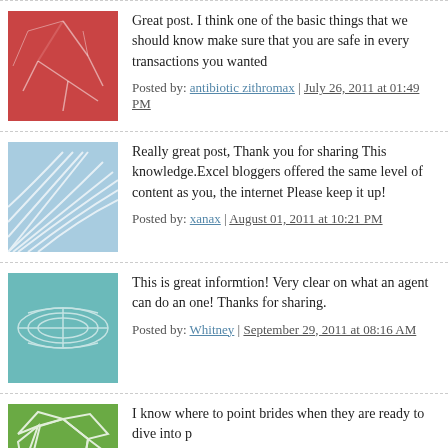Great post. I think one of the basic things that we should know make sure that you are safe in every transactions you wanted
Posted by: antibiotic zithromax | July 26, 2011 at 01:49 PM
Really great post, Thank you for sharing This knowledge.Excel bloggers offered the same level of content as you, the internet Please keep it up!
Posted by: xanax | August 01, 2011 at 10:21 PM
This is great informtion! Very clear on what an agent can do an one! Thanks for sharing.
Posted by: Whitney | September 29, 2011 at 08:16 AM
I know where to point brides when they are ready to dive into p
Posted by: utah vacation rentals | October 10, 2011 at 08:22 AM
The comments to this entry are closed.